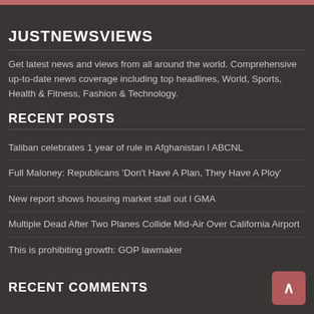JUSTNEWSVIEWS
Get latest news and views from all around the world. Comprehensive up-to-date news coverage including top headlines, World, Sports, Health & Fitness, Fashion & Technology.
RECENT POSTS
Taliban celebrates 1 year of rule in Afghanistan l ABCNL
Full Maloney: Republicans 'Don't Have A Plan, They Have A Ploy'
New report shows housing market stall out l GMA
Multiple Dead After Two Planes Collide Mid-Air Over California Airport
This is prohibiting growth: GOP lawmaker
RECENT COMMENTS